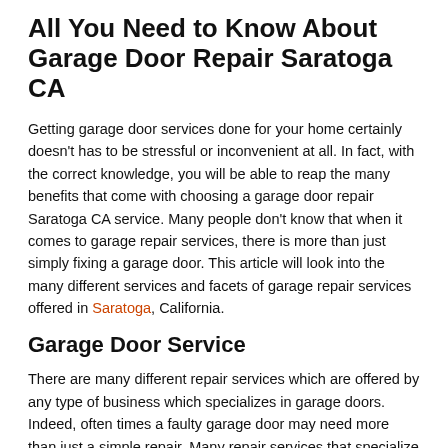All You Need to Know About Garage Door Repair Saratoga CA
Getting garage door services done for your home certainly doesn't has to be stressful or inconvenient at all. In fact, with the correct knowledge, you will be able to reap the many benefits that come with choosing a garage door repair Saratoga CA service. Many people don't know that when it comes to garage repair services, there is more than just simply fixing a garage door. This article will look into the many different services and facets of garage repair services offered in Saratoga, California.
Garage Door Service
There are many different repair services which are offered by any type of business which specializes in garage doors. Indeed, often times a faulty garage door may need more than just a simple repair. Many repair services that specialize in garage doors will also offer garage door replacements, garage door spring repairs, and even optional installations of things such as remote garage door openers. There are many services that can be utilized when getting garage door services for your home.
Garage Door Replacement